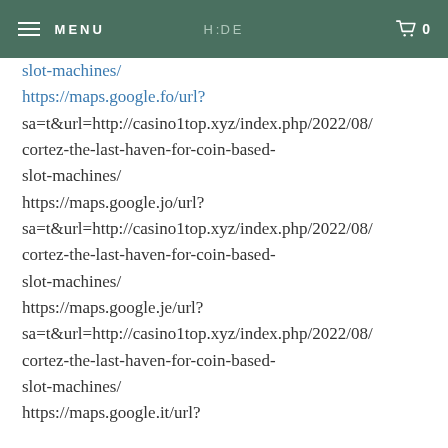MENU | HIDE | 0
slot-machines/
https://maps.google.fo/url?
sa=t&url=http://casino1top.xyz/index.php/2022/08/
cortez-the-last-haven-for-coin-based-
slot-machines/
https://maps.google.jo/url?
sa=t&url=http://casino1top.xyz/index.php/2022/08/
cortez-the-last-haven-for-coin-based-
slot-machines/
https://maps.google.je/url?
sa=t&url=http://casino1top.xyz/index.php/2022/08/
cortez-the-last-haven-for-coin-based-
slot-machines/
https://maps.google.it/url?